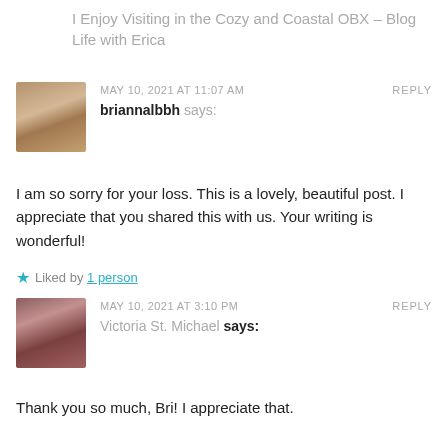I Enjoy Visiting in the Cozy and Coastal OBX – Blog Life with Erica
MAY 10, 2021 AT 11:07 AM
briannalbbh says:
REPLY
I am so sorry for your loss. This is a lovely, beautiful post. I appreciate that you shared this with us. Your writing is wonderful!
★ Liked by 1 person
MAY 10, 2021 AT 3:10 PM
Victoria St. Michael says:
REPLY
Thank you so much, Bri! I appreciate that.